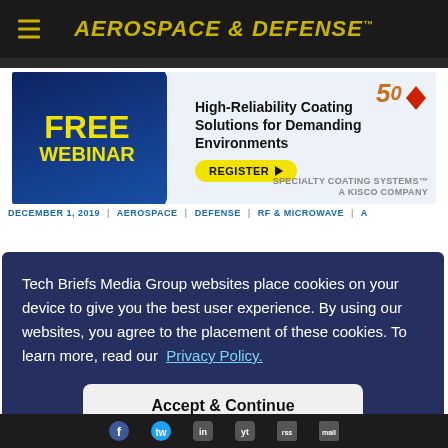AEROSPACE & DEFENSE
[Figure (infographic): Advertisement banner for a free webinar: 'High-Reliability Coating Solutions for Demanding Environments' by Specialty Coating Systems, a KISCO Company. Features a yellow 'FREE WEBINAR' text on blue background with a 'REGISTER' button. 50th anniversary logo visible.]
DECEMBER 1, 2019 | AEROSPACE | DEFENSE | RF & MICROWAVE
Tech Briefs Media Group websites place cookies on your device to give you the best user experience. By using our websites, you agree to the placement of these cookies. To learn more, read our Privacy Policy.
Accept & Continue